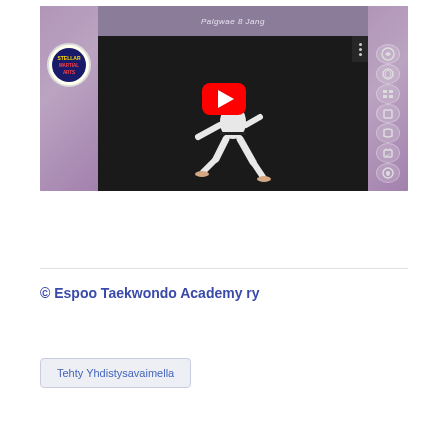[Figure (screenshot): YouTube video thumbnail/embed showing 'PALGWE PAL JANG (8) Kukki...' from Stellar Martial Arts channel, featuring Palgwae 8 Jang title at top, a martial artist in white dobok performing a stance on dark background, red YouTube play button overlay, and decorative purple side panels with icons]
© Espoo Taekwondo Academy ry
Tehty Yhdistysavaimella